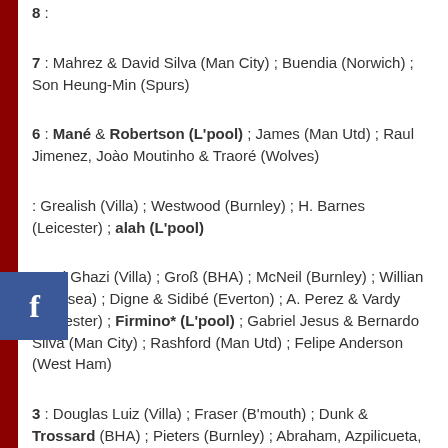8 :
7 : Mahrez & David Silva (Man City) ; Buendia (Norwich) ; Son Heung-Min (Spurs)
6 : Mané & Robertson (L'pool) ; James (Man Utd) ; Raul Jimenez, Joào Moutinho & Traoré (Wolves)
5 : Grealish (Villa) ; Westwood (Burnley) ; H. Barnes (Leicester) ; Salah (L'pool)
4 : El Ghazi (Villa) ; Groß (BHA) ; McNeil (Burnley) ; Willian (Chelsea) ; Digne & Sidibé (Everton) ; A. Perez & Vardy (Leicester) ; Firmino* (L'pool) ; Gabriel Jesus & Bernardo Silva (Man City) ; Rashford (Man Utd) ; Felipe Anderson (West Ham)
3 : Douglas Luiz (Villa) ; Fraser (B'mouth) ; Dunk & Trossard (BHA) ; Pieters (Burnley) ; Abraham, Azpilicueta, Hudson-Odoi & Kovacic (Chelsea) ; Zaha (Palace) ; Holgate & Richarlison (Everton) ; Chilwell , Maddison & Tielemans (Leicester) ; Agüero (Man City) ; Martial & A.